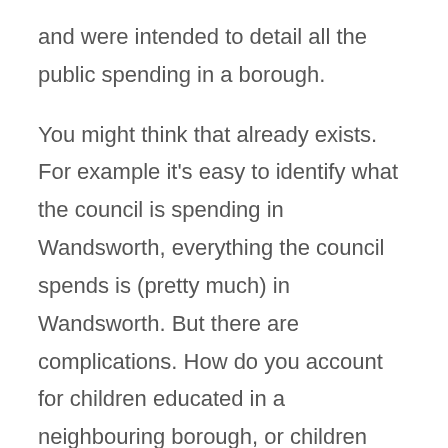and were intended to detail all the public spending in a borough.
You might think that already exists. For example it's easy to identify what the council is spending in Wandsworth, everything the council spends is (pretty much) in Wandsworth. But there are complications. How do you account for children educated in a neighbouring borough, or children from neighbouring boroughs educated here?
And then there are a whole range of other agencies who work in Wandsworth but do not publish their spending, so, for example obviously Job Centre Plus